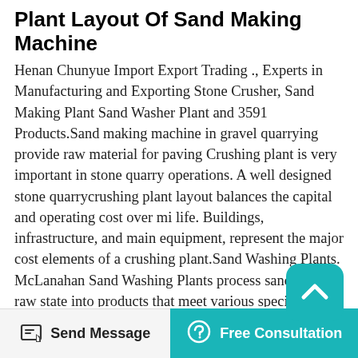Plant Layout Of Sand Making Machine
Henan Chunyue Import Export Trading ., Experts in Manufacturing and Exporting Stone Crusher, Sand Making Plant Sand Washer Plant and 3591 Products.Sand making machine in gravel quarrying provide raw material for paving Crushing plant is very important in stone quarry operations. A well designed stone quarrycrushing plant layout balances the capital and operating cost over mine life. Buildings, infrastructure, and main equipment, represent the major cost elements of a crushing plant.Sand Washing Plants. McLanahan Sand Washing Plants process sand from its raw state into products that meet various specifications. The process requirements vary depending on the input
Send Message | Free Consultation